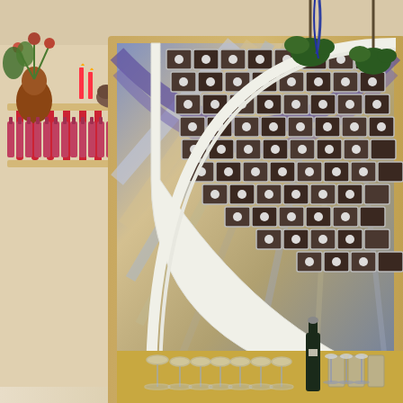[Figure (photo): Interior of a wine bar or restaurant featuring a curved arch wine rack filled with wine bottles, a marble bar counter, green botanical patterned bar stools, shelving with bottles and a terracotta vase with flowers on the left wall, hanging plants from the ceiling, a large arched decorative mirror or artwork with geometric stained-glass style design on the back wall, and wine glasses arranged on the bar surface.]